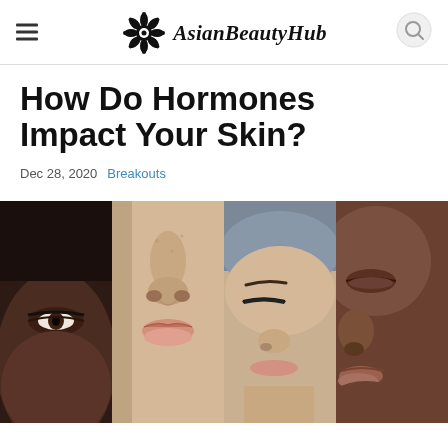AsianBeautyHub
How Do Hormones Impact Your Skin?
Dec 28, 2020  Breakouts
[Figure (photo): Collage of four close-up face photos showing women of diverse ethnicities, focusing on their faces from the nose area down or partial face views.]